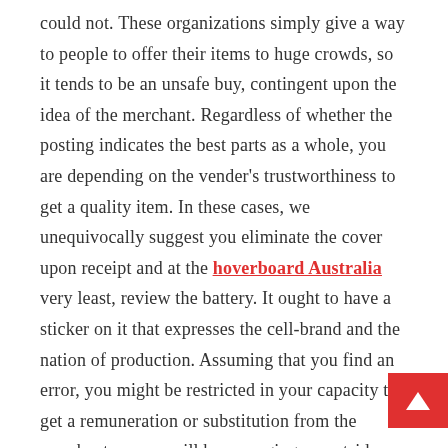could not. These organizations simply give a way to people to offer their items to huge crowds, so it tends to be an unsafe buy, contingent upon the idea of the merchant. Regardless of whether the posting indicates the best parts as a whole, you are depending on the vender's trustworthiness to get a quality item. In these cases, we unequivocally suggest you eliminate the cover upon receipt and at the hoverboard Australia very least, review the battery. It ought to have a sticker on it that expresses the cell-brand and the nation of production. Assuming that you find an error, you might be restricted in your capacity to get a remuneration or substitution from the merchant, as you will be managing an outsider and need to manage the formality related with that. Assuming you purchase straightforwardly from a store that spends